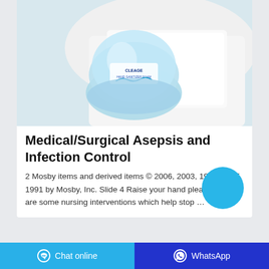[Figure (photo): A light blue hand sanitizer/soap bottle lying on its side against a white cloth background]
Medical/Surgical Asepsis and Infection Control
2 Mosby items and derived items © 2006, 2003, 1999, 1995, 1991 by Mosby, Inc. Slide 4 Raise your hand please –What are some nursing interventions which help stop …
Chat online   WhatsApp